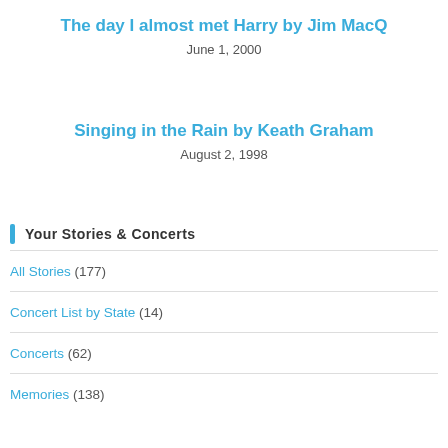The day I almost met Harry by Jim MacQ
June 1, 2000
Singing in the Rain by Keath Graham
August 2, 1998
Your Stories & Concerts
All Stories (177)
Concert List by State (14)
Concerts (62)
Memories (138)